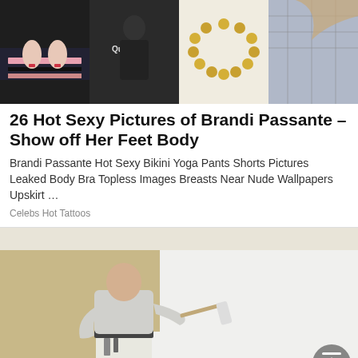[Figure (photo): Three horizontally arranged photos: a woman in a striped skirt, a person in dark clothing, a gold necklace on white background, and a woman in patterned top]
26 Hot Sexy Pictures of Brandi Passante – Show off Her Feet Body
Brandi Passante Hot Sexy Bikini Yoga Pants Shorts Pictures Leaked Body Bra Topless Images Breasts Near Nude Wallpapers Upskirt …
Celebs Hot Tattoos
[Figure (photo): A bald man in a light grey t-shirt painting a tan/brown wall white using a paint roller, viewed from behind on a staircase landing]